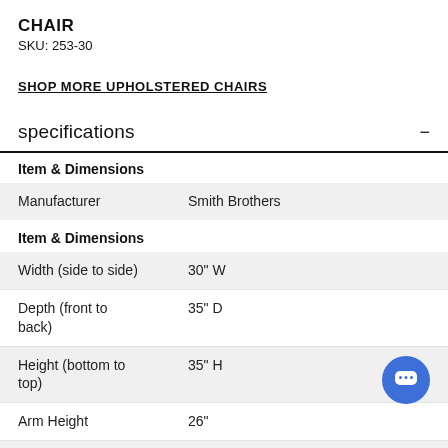CHAIR
SKU: 253-30
SHOP MORE UPHOLSTERED CHAIRS
specifications
|  |  |
| --- | --- |
| Item & Dimensions |  |
| Manufacturer | Smith Brothers |
| Item & Dimensions |  |
| Width (side to side) | 30" W |
| Depth (front to back) | 35" D |
| Height (bottom to top) | 35" H |
| Arm Height | 26" |
| Seat Depth | 21" |